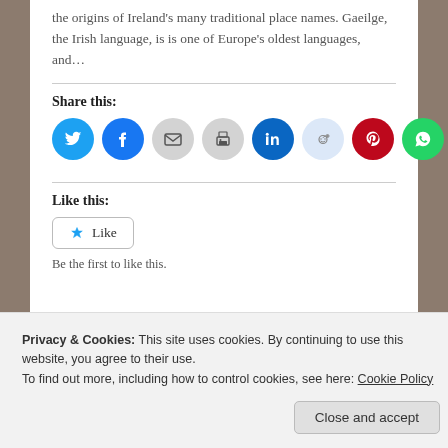the origins of Ireland's many traditional place names. Gaeilge, the Irish language, is is one of Europe's oldest languages, and...
Share this:
[Figure (illustration): Row of social sharing icon buttons: Twitter (blue), Facebook (blue), Email (grey), Print (grey), LinkedIn (dark blue), Reddit (light blue), Pinterest (red), WhatsApp (green)]
Like this:
[Figure (illustration): Like button with star icon and 'Like' text]
Be the first to like this.
Privacy & Cookies: This site uses cookies. By continuing to use this website, you agree to their use.
To find out more, including how to control cookies, see here: Cookie Policy
Close and accept